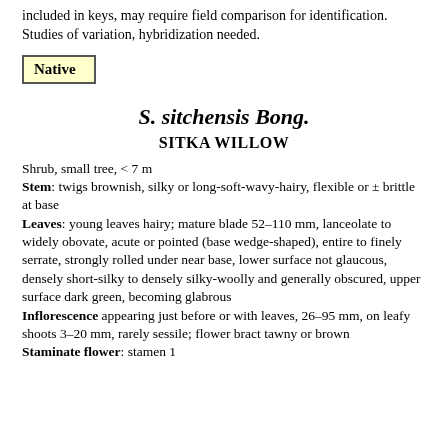included in keys, may require field comparison for identification. Studies of variation, hybridization needed.
Native
S. sitchensis Bong.
SITKA WILLOW
Shrub, small tree, < 7 m
Stem: twigs brownish, silky or long-soft-wavy-hairy, flexible or ± brittle at base
Leaves: young leaves hairy; mature blade 52–110 mm, lanceolate to widely obovate, acute or pointed (base wedge-shaped), entire to finely serrate, strongly rolled under near base, lower surface not glaucous, densely short-silky to densely silky-woolly and generally obscured, upper surface dark green, becoming glabrous
Inflorescence appearing just before or with leaves, 26–95 mm, on leafy shoots 3–20 mm, rarely sessile; flower bract tawny or brown
Staminate flower: stamen 1